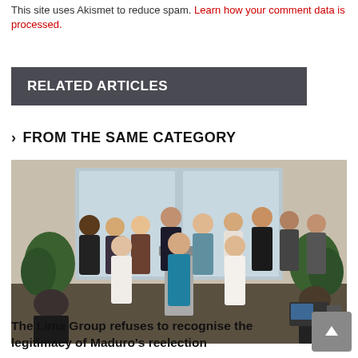This site uses Akismet to reduce spam. Learn how your comment data is processed.
RELATED ARTICLES
> FROM THE SAME CATEGORY
[Figure (photo): Group photo of approximately 15 people standing in formal attire at a press conference podium in an official-looking room with plants and windows in the background.]
The Lima Group refuses to recognise the legitimacy of Maduro's reelection